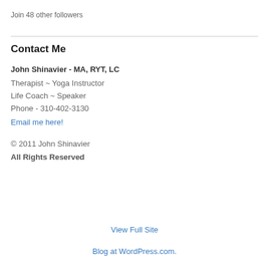Join 48 other followers
Contact Me
John Shinavier - MA, RYT, LC
Therapist ~ Yoga Instructor
Life Coach ~ Speaker
Phone - 310-402-3130
Email me here!
© 2011 John Shinavier
All Rights Reserved
View Full Site
Blog at WordPress.com.